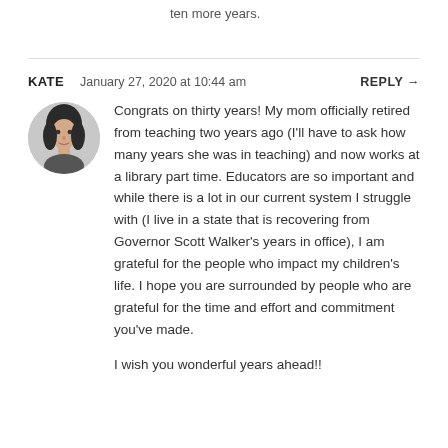ten more years.
KATE   January 27, 2020 at 10:44 am   REPLY →
[Figure (photo): Circular avatar photo of a woman with dark hair]
Congrats on thirty years! My mom officially retired from teaching two years ago (I'll have to ask how many years she was in teaching) and now works at a library part time. Educators are so important and while there is a lot in our current system I struggle with (I live in a state that is recovering from Governor Scott Walker's years in office), I am grateful for the people who impact my children's life. I hope you are surrounded by people who are grateful for the time and effort and commitment you've made.
I wish you wonderful years ahead!!